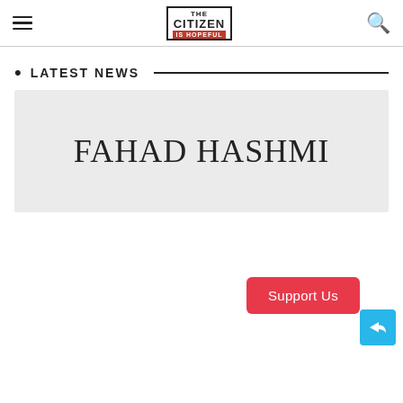THE CITIZEN IS HOPEFUL
LATEST NEWS
FAHAD HASHMI
Support Us
[Figure (other): Share button icon]